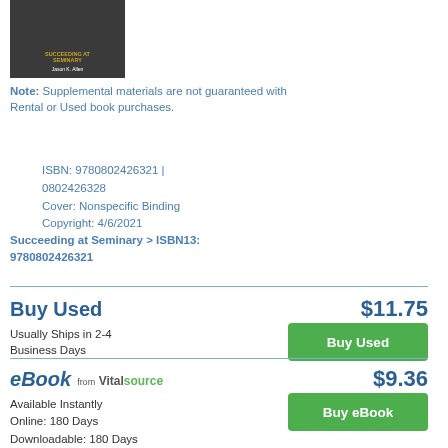[Figure (photo): Book cover for 'Succeeding at Seminary' by Jason K. Allen, dark background with author name]
Note: Supplemental materials are not guaranteed with Rental or Used book purchases.
ISBN: 9780802426321 | 0802426328
Cover: Nonspecific Binding
Copyright: 4/6/2021
Succeeding at Seminary > ISBN13: 9780802426321
Buy Used
$11.75
Usually Ships in 2-4 Business Days
eBook from VitalSource
$9.36
Available Instantly
Online: 180 Days
Downloadable: 180 Days